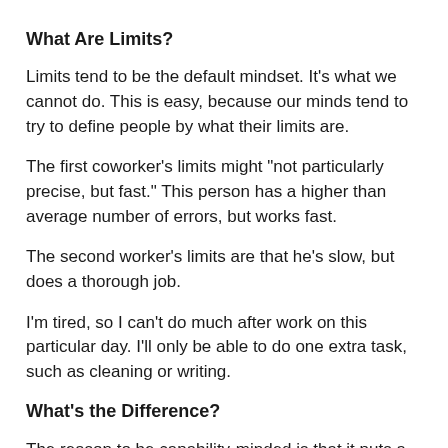What Are Limits?
Limits tend to be the default mindset. It's what we cannot do. This is easy, because our minds tend to try to define people by what their limits are.
The first coworker's limits might "not particularly precise, but fast." This person has a higher than average number of errors, but works fast.
The second worker's limits are that he's slow, but does a thorough job.
I'm tired, so I can't do much after work on this particular day. I'll only be able to do one extra task, such as cleaning or writing.
What's the Difference?
The reason to be capability-minded is that it puts a person's strengths before his or her weaknesses.